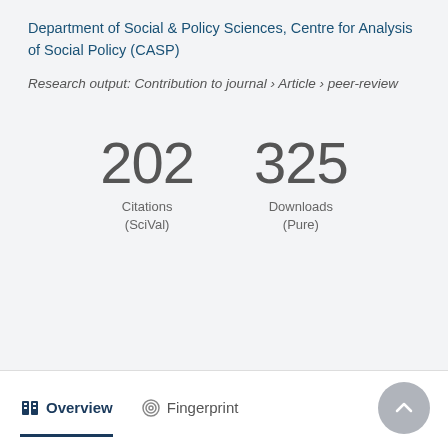Department of Social & Policy Sciences, Centre for Analysis of Social Policy (CASP)
Research output: Contribution to journal › Article › peer-review
202
Citations
(SciVal)
325
Downloads
(Pure)
Overview
Fingerprint